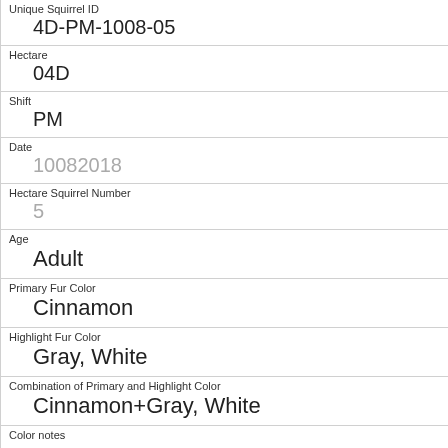| Unique Squirrel ID | 4D-PM-1008-05 |
| Hectare | 04D |
| Shift | PM |
| Date | 10082018 |
| Hectare Squirrel Number | 5 |
| Age | Adult |
| Primary Fur Color | Cinnamon |
| Highlight Fur Color | Gray, White |
| Combination of Primary and Highlight Color | Cinnamon+Gray, White |
| Color notes |  |
| Location |  |